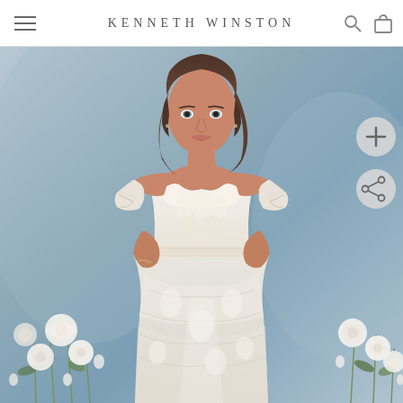KENNETH WINSTON
[Figure (photo): A brunette model wearing an off-the-shoulder white lace bridal gown with intricate floral embroidery and beading, posed against a muted blue-grey background with white floral arrangements at lower left and lower right.]